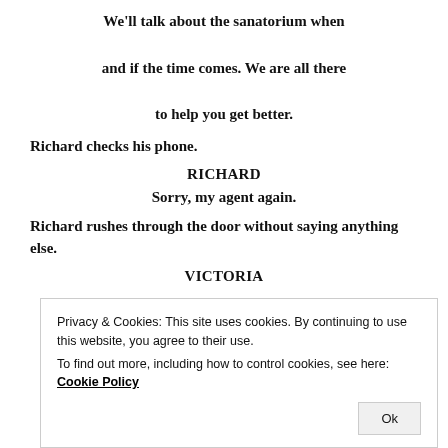We'll talk about the sanatorium when and if the time comes. We are all there to help you get better.
Richard checks his phone.
RICHARD
Sorry, my agent again.
Richard rushes through the door without saying anything else.
VICTORIA
Privacy & Cookies: This site uses cookies. By continuing to use this website, you agree to their use. To find out more, including how to control cookies, see here: Cookie Policy